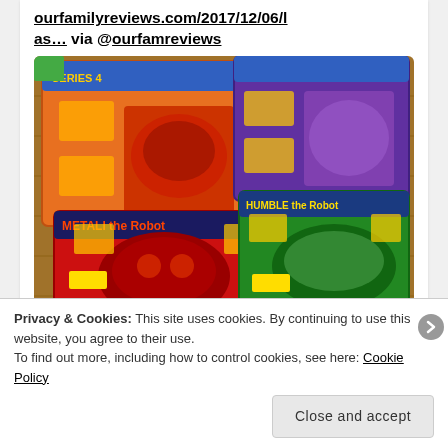ourfamilyreviews.com/2017/12/06/las... via @ourfamreviews
[Figure (photo): Photo of robot toy boxes on a wooden floor: red/orange Metali the Robot, green Humble the Robot, and other colorful robot toy boxes.]
ourfamilyreviews.com
6 last minute holiday gifts for kids and kidults + Giveaway
Privacy & Cookies: This site uses cookies. By continuing to use this website, you agree to their use.
To find out more, including how to control cookies, see here: Cookie Policy
Close and accept